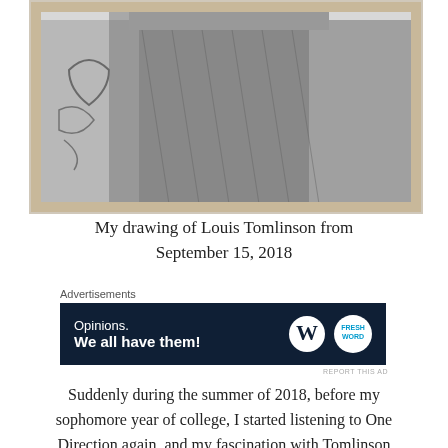[Figure (illustration): A pencil drawing of Louis Tomlinson showing upper body with tattoos, framed and placed on a carpet background]
My drawing of Louis Tomlinson from September 15, 2018
Advertisements
[Figure (other): Advertisement banner with dark navy background reading 'Opinions. We all have them!' with WordPress and FrontWord logos]
REPORT THIS AD
Suddenly during the summer of 2018, before my sophomore year of college, I started listening to One Direction again, and my fascination with Tomlinson increased to the max! Not only that